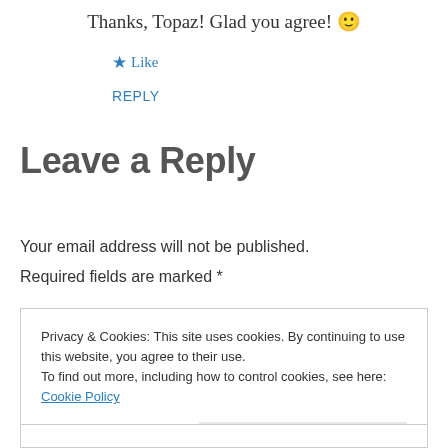Thanks, Topaz! Glad you agree! 🙂
★ Like
REPLY
Leave a Reply
Your email address will not be published.
Required fields are marked *
Privacy & Cookies: This site uses cookies. By continuing to use this website, you agree to their use.
To find out more, including how to control cookies, see here: Cookie Policy
Close and accept